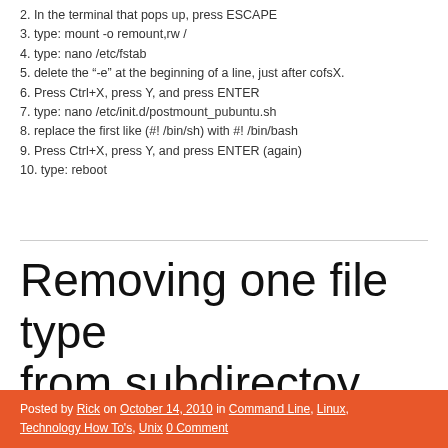2. In the terminal that pops up, press ESCAPE
3. type: mount -o remount,rw /
4. type: nano /etc/fstab
5. delete the "-e" at the beginning of a line, just after cofsX.
6. Press Ctrl+X, press Y, and press ENTER
7. type: nano /etc/init.d/postmount_pubuntu.sh
8. replace the first like (#! /bin/sh) with #! /bin/bash
9. Press Ctrl+X, press Y, and press ENTER (again)
10. type: reboot
Removing one file type from subdirectoy
Posted by Rick on October 14, 2010 in Command Line, Linux, Technology How To's, Unix 0 Comment